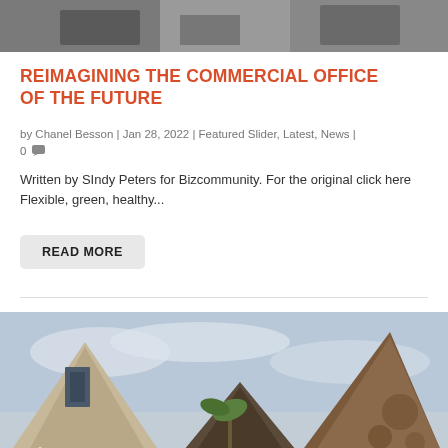[Figure (photo): Top cropped photo of people or architectural scene, partially visible]
REIMAGINING THE COMMERCIAL OFFICE OF THE FUTURE
by Chanel Besson | Jan 28, 2022 | Featured Slider, Latest, News | 0 [comment icon]
Written by SIndy Peters for Bizcommunity. For the original click here Flexible, green, healthy...
READ MORE
[Figure (photo): Architectural photograph showing pyramid-shaped structures with textured facades against a cloudy sky, with palm tree and people visible at base]